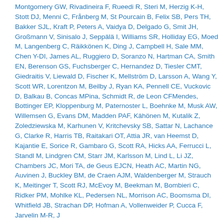Montgomery GW, Rivadineira F, Rueedi R, Steri M, Herzig K-H, Stott DJ, Menni C, Frånberg M, St Pourcain B, Felix SB, Pers TH, Bakker SJL, Kraft P, Peters A, Vaidya D, Delgado G, Smit JH, Großmann V, Sinisalo J, Seppälä I, Williams SR, Holliday EG, Moed M, Langenberg C, Räikkönen K, Ding J, Campbell H, Sale MM, Chen Y-DI, James AL, Ruggiero D, Soranzo N, Hartman CA, Smith EN, Berenson GS, Fuchsberger C, Hernandez D, Tiesler CMT, Giedraitis V, Liewald D, Fischer K, Mellström D, Larsson A, Wang Y, Scott WR, Lorentzon M, Beilby J, Ryan KA, Pennell CE, Vuckovic D, Balkau B, Concas MPina, Schmidt R, de Leon CFMendes, Bottinger EP, Kloppenburg M, Paternoster L, Boehnke M, Musk AW, Willemsen G, Evans DM, Madden PAF, Kähönen M, Kutalik Z, Zoledziewska M, Karhunen V, Kritchevsky SB, Sattar N, Lachance G, Clarke R, Harris TB, Raitakari OT, Attia JR, van Heemst D, Kajantie E, Sorice R, Gambaro G, Scott RA, Hicks AA, Ferrucci L, Standl M, Lindgren CM, Starr JM, Karlsson M, Lind L, Li JZ, Chambers JC, Mori TA, de Geus EJCN, Heath AC, Martin NG, Auvinen J, Buckley BM, de Craen AJM, Waldenberger M, Strauch K, Meitinger T, Scott RJ, McEvoy M, Beekman M, Bombieri C, Ridker PM, Mohlke KL, Pedersen NL, Morrison AC, Boomsma DI, Whitfield JB, Strachan DP, Hofman A, Vollenweider P, Cucca F, Jarvelin M-R, J ...